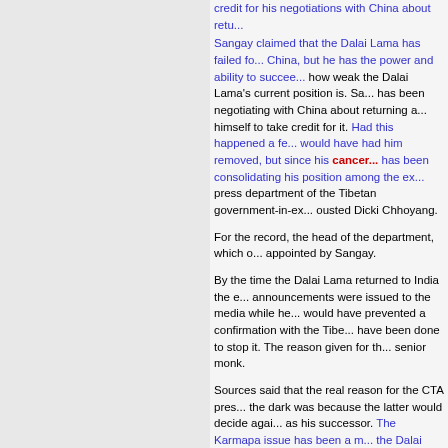credit for his negotiations with China about retu...
Sangay claimed that the Dalai Lama has failed fo... China, but he has the power and ability to succee... how weak the Dalai Lama's current position is. Sa... has been negotiating with China about returning a... himself to take credit for it. Had this happened a fe... would have had him removed, but since his cancer... has been consolidating his position among the ex... press department of the Tibetan government-in-e... ousted Dicki Chhoyang.
For the record, the head of the department, which o... appointed by Sangay.
By the time the Dalai Lama returned to India the e... announcements were issued to the media while he... would have prevented a confirmation with the Tib... have been done to stop it. The reason given for th... senior monk.
Sources said that the real reason for the CTA pres... the dark was because the latter would decide agai... as his successor. The Karmapa issue has been a m... the Dalai Lama and the CTA president. Sources sp... conversation between the Dalai Lama and Sangay...